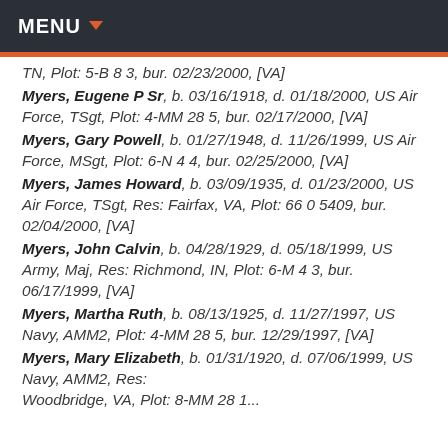MENU
TN, Plot: 5-B 8 3, bur. 02/23/2000, [VA]
Myers, Eugene P Sr, b. 03/16/1918, d. 01/18/2000, US Air Force, TSgt, Plot: 4-MM 28 5, bur. 02/17/2000, [VA]
Myers, Gary Powell, b. 01/27/1948, d. 11/26/1999, US Air Force, MSgt, Plot: 6-N 4 4, bur. 02/25/2000, [VA]
Myers, James Howard, b. 03/09/1935, d. 01/23/2000, US Air Force, TSgt, Res: Fairfax, VA, Plot: 66 0 5409, bur. 02/04/2000, [VA]
Myers, John Calvin, b. 04/28/1929, d. 05/18/1999, US Army, Maj, Res: Richmond, IN, Plot: 6-M 4 3, bur. 06/17/1999, [VA]
Myers, Martha Ruth, b. 08/13/1925, d. 11/27/1997, US Navy, AMM2, Plot: 4-MM 28 5, bur. 12/29/1997, [VA]
Myers, Mary Elizabeth, b. 01/31/1920, d. 07/06/1999, US Navy, AMM2, Res: Woodbridge, VA, Plot: 8-MM 28 1 ...